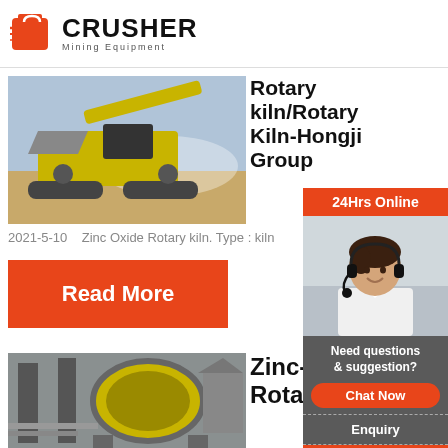[Figure (logo): Crusher Mining Equipment logo with red shopping bag icon and bold CRUSHER text]
[Figure (photo): Yellow mobile jaw crusher machine on a dirt/gravel worksite]
Rotary kiln/Rotary Kiln-Hongji Group
2021-5-10    Zinc Oxide Rotary kiln. Type : kiln
Read More
[Figure (photo): Industrial rotary kiln equipment showing large yellow cylindrical drum with gear ring, piping and support structure]
Zinc-o Rotar
24Hrs Online
[Figure (photo): Customer service representative woman with headset smiling]
Need questions & suggestion?
Chat Now
Enquiry
limingjlmofen@sina.com